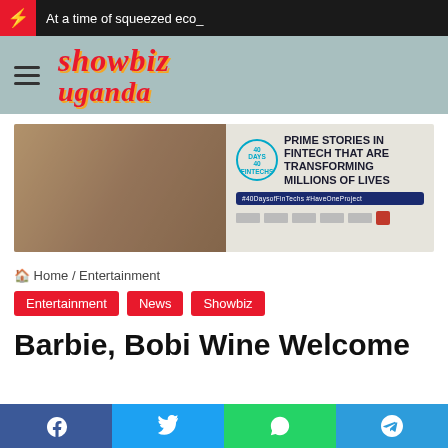At a time of squeezed eco_
[Figure (logo): Showbiz Uganda site logo with hamburger menu on teal background]
[Figure (infographic): Ad banner: 40 Days 40 Fintechs - Prime Stories in Fintech That Are Transforming Millions of Lives]
Home / Entertainment
Entertainment
News
Showbiz
Barbie, Bobi Wine Welcome